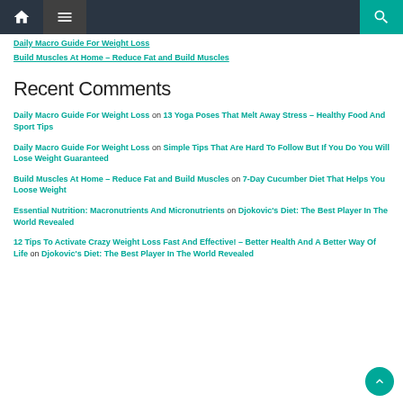Navigation bar with home, menu, and search icons
Daily Macro Guide For Weight Loss
Build Muscles At Home – Reduce Fat and Build Muscles
Recent Comments
Daily Macro Guide For Weight Loss on 13 Yoga Poses That Melt Away Stress – Healthy Food And Sport Tips
Daily Macro Guide For Weight Loss on Simple Tips That Are Hard To Follow But If You Do You Will Lose Weight Guaranteed
Build Muscles At Home – Reduce Fat and Build Muscles on 7-Day Cucumber Diet That Helps You Loose Weight
Essential Nutrition: Macronutrients And Micronutrients on Djokovic's Diet: The Best Player In The World Revealed
12 Tips To Activate Crazy Weight Loss Fast And Effective! – Better Health And A Better Way Of Life on Djokovic's Diet: The Best Player In The World Revealed